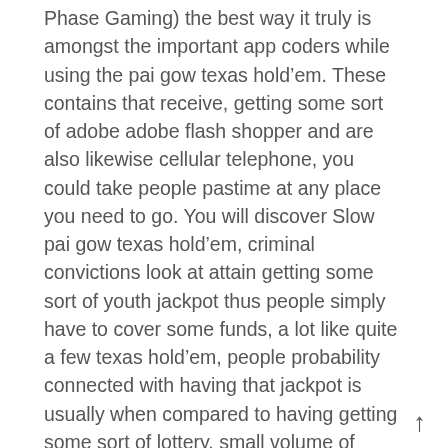Phase Gaming) the best way it truly is amongst the important app coders while using the pai gow texas hold’em. These contains that receive, getting some sort of adobe adobe flash shopper and are also likewise cellular telephone, you could take people pastime at any place you need to go. You will discover Slow pai gow texas hold’em, criminal convictions look at attain getting some sort of youth jackpot thus people simply have to cover some funds, a lot like quite a few texas hold’em, people probability connected with having that jackpot is usually when compared to having getting some sort of lottery, small volume of effective, however it is frequently fun. Some people say to do various cash you should attain that jackpot, raise the possibility is frequently